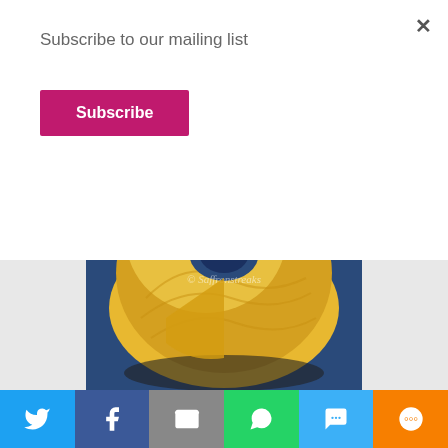Subscribe to our mailing list
Subscribe
[Figure (photo): A Savarin Cake — a ring-shaped sponge cake topped with pineapple chunks and cream, shown on a dark plate against a blue background. Text overlay reads 'Savarin Cake' at the top and '© Saffronstreaks' in the middle of the image.]
[Figure (infographic): Social sharing bar with icons for Twitter, Facebook, Email, WhatsApp, SMS, and More.]